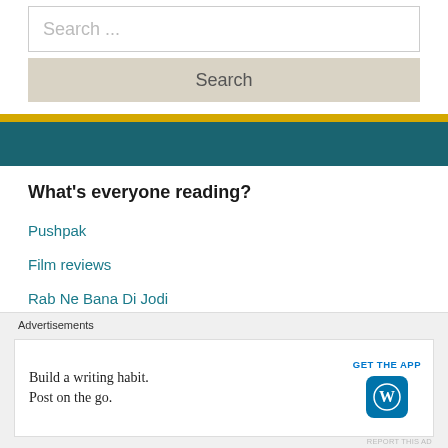Search ...
Search
What's everyone reading?
Pushpak
Film reviews
Rab Ne Bana Di Jodi
HIT (2020)
Paruthiveeran
Neel Kamal (1968)
Guestbook
Advertisements
Build a writing habit. Post on the go.
GET THE APP